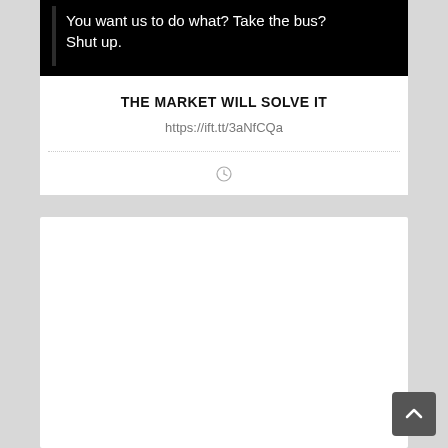[Figure (screenshot): Black background screenshot with a white vertical bar on the left and white text reading: 'You want us to do what? Take the bus? Shut up.']
THE MARKET WILL SOLVE IT
https://ift.tt/3aNfCQa
[Figure (other): Clock/time icon (loading indicator)]
[Figure (other): Second card area — blank white content area below the divider]